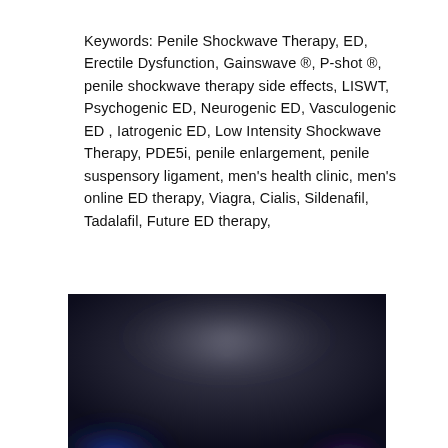Keywords: Penile Shockwave Therapy, ED, Erectile Dysfunction, Gainswave ®, P-shot ®, penile shockwave therapy side effects, LISWT, Psychogenic ED, Neurogenic ED, Vasculogenic ED , Iatrogenic ED, Low Intensity Shockwave Therapy, PDE5i, penile enlargement, penile suspensory ligament, men's health clinic, men's online ED therapy, Viagra, Cialis, Sildenafil, Tadalafil, Future ED therapy,
[Figure (photo): Dark blurred background image with deep blue and purple tones, appearing to show a blurred clinical or abstract scene.]